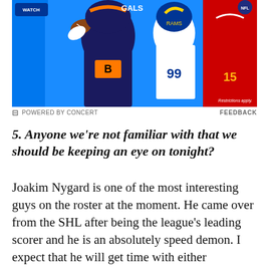[Figure (photo): Sports advertisement banner showing NFL/football players in action — a Bengals player with a football, a Rams player, and a Chiefs player wearing number 15, set against a blue background]
POWERED BY CONCERT   FEEDBACK
5. Anyone we're not familiar with that we should be keeping an eye on tonight?
Joakim Nygard is one of the most interesting guys on the roster at the moment. He came over from the SHL after being the league's leading scorer and he is an absolutely speed demon. I expect that he will get time with either McDavid or RNH and it will be interesting to see how he performs with those players. He only got better as the preseason went on and many people around the team are expecting him to pot 10-15 goals